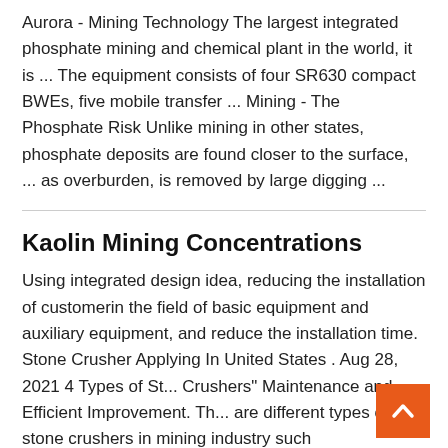Aurora - Mining Technology The largest integrated phosphate mining and chemical plant in the world, it is ... The equipment consists of four SR630 compact BWEs, five mobile transfer ... Mining - The Phosphate Risk Unlike mining in other states, phosphate deposits are found closer to the surface, ... as overburden, is removed by large digging ...
Kaolin Mining Concentrations
Using integrated design idea, reducing the installation of customerin the field of basic equipment and auxiliary equipment, and reduce the installation time. Stone Crusher Applying In United States . Aug 28, 2021 4 Types of St... Crushers" Maintenance and Efficient Improvement. Th... are different types of stone crushers in mining industry such